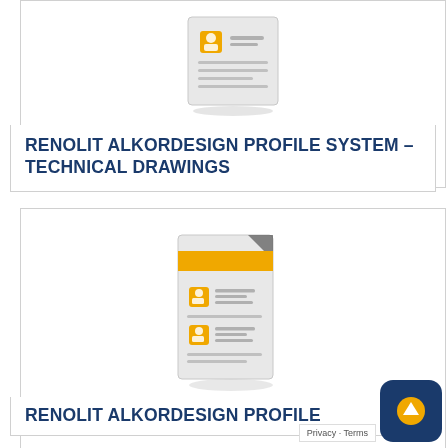[Figure (illustration): Icon of a document/card with an orange person icon and grey horizontal lines, displayed inside a white rounded card]
RENOLIT ALKORDESIGN PROFILE SYSTEM – TECHNICAL DRAWINGS
[Figure (illustration): Icon of a document with an orange header bar, folded corner, and two orange person icons with grey text lines, displayed inside a white rounded card]
RENOLIT ALKORDESIGN PROFILE